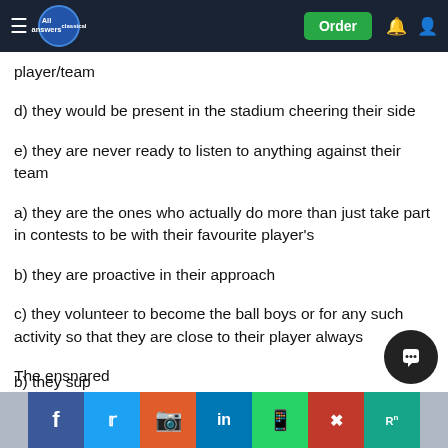All Answers Classical — navigation bar with Order button
player/team
d) they would be present in the stadium cheering their side
e) they are never ready to listen to anything against their team
a) they are the ones who actually do more than just take part in contests to be with their favourite player's
b) they are proactive in their approach
c) they volunteer to become the ball boys or for any such activity so that they are close to their player always
The ensnared
a) this is one special category of fans
b) they sup... [truncated by share bar]